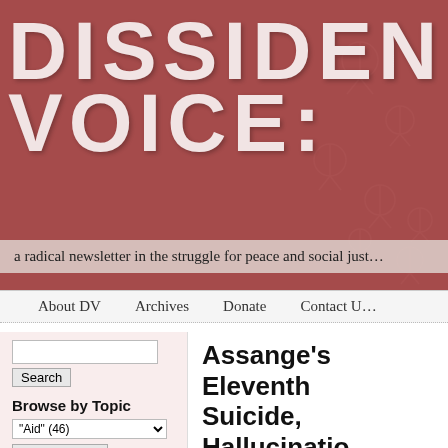[Figure (logo): Dissident Voice website banner with large distressed white text on a dark reddish-brown brick background with peace symbols]
a radical newsletter in the struggle for peace and social just...
About DV   Archives   Donate   Contact U...
Assange's Eleventh Suicide, Hallucinations Torture
by Binoy Kampmark / September 2...
September 22.  Central Criminal Cour...
Today, the prosecutors in the Julian As...
Browse by Topic
"Aid" (46)
Poetry on Sunday